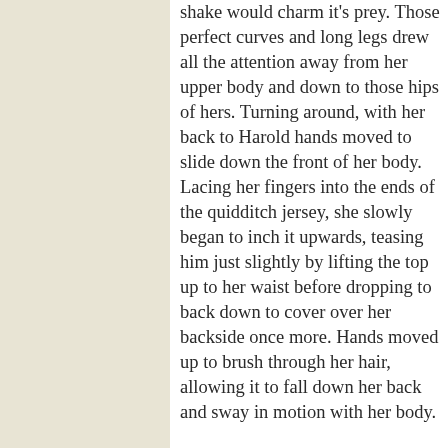shake would charm it's prey. Those perfect curves and long legs drew all the attention away from her upper body and down to those hips of hers. Turning around, with her back to Harold hands moved to slide down the front of her body. Lacing her fingers into the ends of the quidditch jersey, she slowly began to inch it upwards, teasing him just slightly by lifting the top up to her waist before dropping to back down to cover over her backside once more. Hands moved up to brush through her hair, allowing it to fall down her back and sway in motion with her body.

One thing was for certain, if she was ever let go of her job as a hit-witch, she would definitely be able to make it